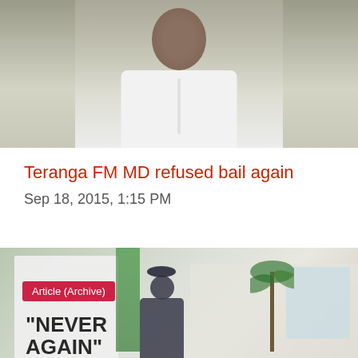[Figure (photo): Top portion of article card showing a person in white garment against a muted background]
Teranga FM MD refused bail again
Sep 18, 2015, 1:15 PM
[Figure (photo): Outdoor scene with a banner reading 'NEVER AGAIN', a crowd of people, palm trees, and a building in the background. An 'Article (Archive)' badge overlays the top-left corner.]